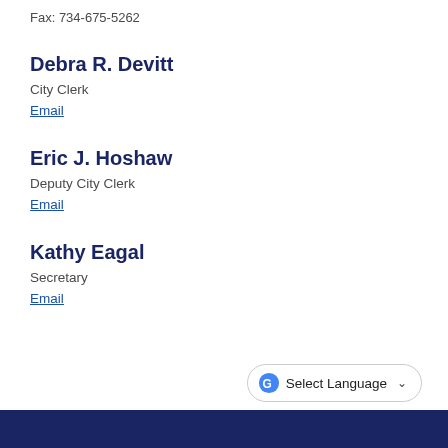Fax: 734-675-5262
Debra R. Devitt
City Clerk
Email
Eric J. Hoshaw
Deputy City Clerk
Email
Kathy Eagal
Secretary
Email